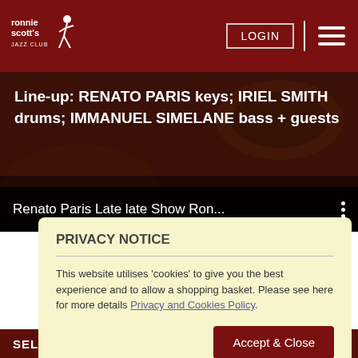Ronnie Scott's Jazz Club | LOGIN | menu
Line-up: RENATO PARIS keys; IRIEL SMITH drums; IMMANUEL SIMELANE bass + guests
Renato Paris Late late Show Ron...
PRIVACY NOTICE
This website utilises 'cookies' to give you the best experience and to allow a shopping basket. Please see here for more details Privacy and Cookies Policy.
Accept & Close
SELE